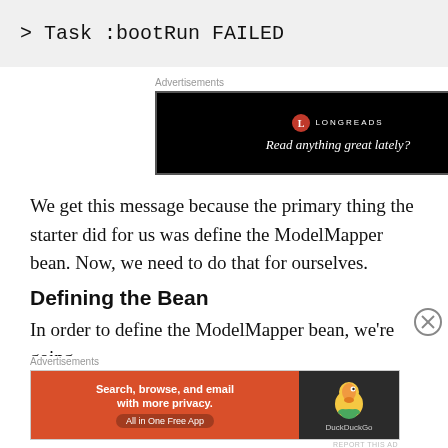[Figure (screenshot): Code block showing terminal output: > Task :bootRun FAILED on a light gray background]
Advertisements
[Figure (other): Longreads advertisement banner: black background with Longreads logo and text 'Read anything great lately?']
We get this message because the primary thing the starter did for us was define the ModelMapper bean. Now, we need to do that for ourselves.
Defining the Bean
In order to define the ModelMapper bean, we're going
Advertisements
[Figure (other): DuckDuckGo advertisement: orange left side with 'Search, browse, and email with more privacy. All in One Free App' and dark right side with DuckDuckGo duck logo]